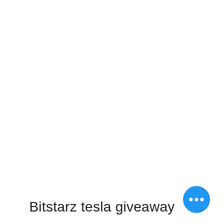Bitstarz tesla giveaway
[Figure (other): Blue circular FAB button with three white dots (ellipsis/more options icon)]